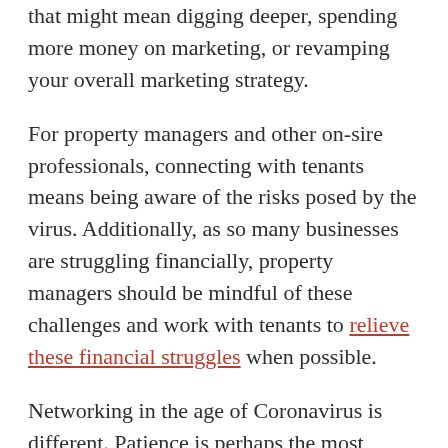that might mean digging deeper, spending more money on marketing, or revamping your overall marketing strategy.
For property managers and other on-sire professionals, connecting with tenants means being aware of the risks posed by the virus. Additionally, as so many businesses are struggling financially, property managers should be mindful of these challenges and work with tenants to relieve these financial struggles when possible.
Networking in the age of Coronavirus is different. Patience is perhaps the most effective tool during this time. However, maintaining current connections, and